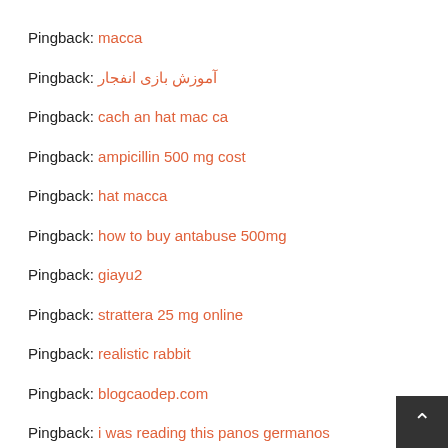Pingback: macca
Pingback: آموزش بازی انفجار
Pingback: cach an hat mac ca
Pingback: ampicillin 500 mg cost
Pingback: hat macca
Pingback: how to buy antabuse 500mg
Pingback: giayu2
Pingback: strattera 25 mg online
Pingback: realistic rabbit
Pingback: blogcaodep.com
Pingback: i was reading this panos germanos
Pingback: arimidex 1mg medication
Pingback: go panos germanos